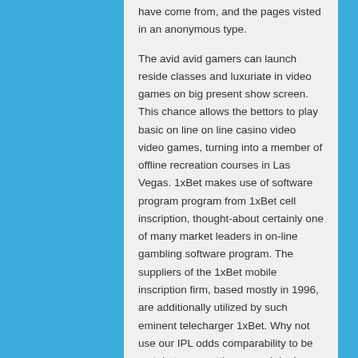have come from, and the pages visted in an anonymous type.

The avid avid gamers can launch reside classes and luxuriate in video games on big present show screen. This chance allows the bettors to play basic on line on line casino video video games, turning into a member of offline recreation courses in Las Vegas. 1xBet makes use of software program program from 1xBet cell inscription, thought-about certainly one of many market leaders in on-line gambling software program. The suppliers of the 1xBet mobile inscription firm, based mostly in 1996, are additionally utilized by such eminent telecharger 1xBet. Why not use our IPL odds comparability to be certain to are getting a good deal. Whilst accumulator